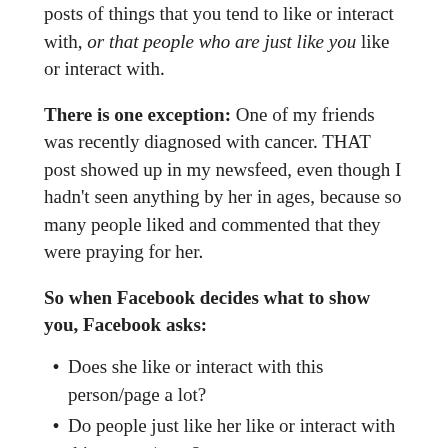posts of things that you tend to like or interact with, or that people who are just like you like or interact with.
There is one exception: One of my friends was recently diagnosed with cancer. THAT post showed up in my newsfeed, even though I hadn't seen anything by her in ages, because so many people liked and commented that they were praying for her.
So when Facebook decides what to show you, Facebook asks:
Does she like or interact with this person/page a lot?
Do people just like her like or interact with this person/page?